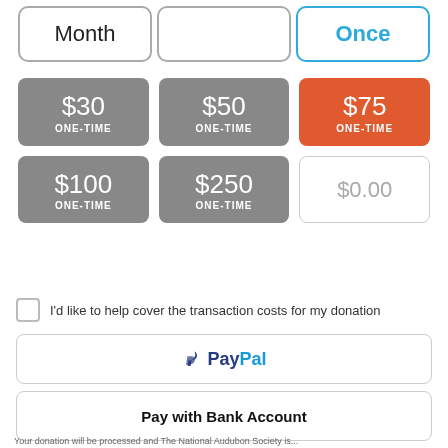Month
Once
$30 ONE-TIME
$50 ONE-TIME
$75 ONE-TIME
$100 ONE-TIME
$250 ONE-TIME
$0.00
I'd like to help cover the transaction costs for my donation
PayPal
Pay with Bank Account
Pay with Card
Your donation will be processed and The National Audubon Society is...